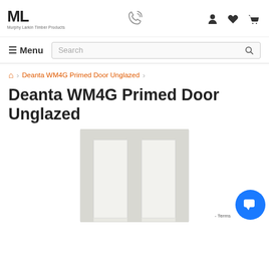Murphy Larkin Timber Products — header with logo, phone icon, user/wishlist/cart icons
Menu | Search
Home > Deanta WM4G Primed Door Unglazed >
Deanta WM4G Primed Door Unglazed
[Figure (photo): White primed interior door with two vertical rectangular panels, partially visible, showing top portion of door]